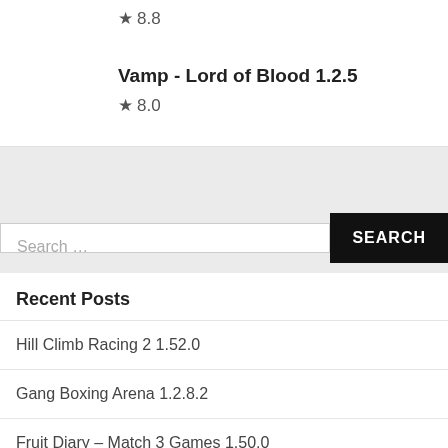★ 8.8
Vamp - Lord of Blood 1.2.5
★ 8.0
Search …
Recent Posts
Hill Climb Racing 2 1.52.0
Gang Boxing Arena 1.2.8.2
Fruit Diary – Match 3 Games 1.50.0
Crayola Scribble Scrubbie Pets 1.21.0